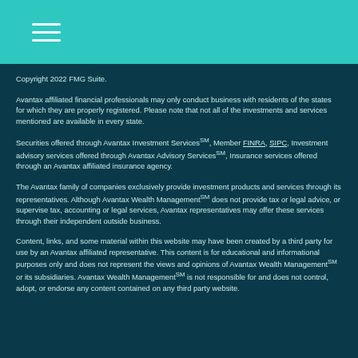Copyright 2022 FMG Suite.
Avantax affiliated financial professionals may only conduct business with residents of the states for which they are properly registered. Please note that not all of the investments and services mentioned are available in every state.
Securities offered through Avantax Investment ServicesSM, Member FINRA, SIPC, Investment advisory services offered through Avantax Advisory ServicesSM, Insurance services offered through an Avantax affiliated insurance agency.
The Avantax family of companies exclusively provide investment products and services through its representatives. Although Avantax Wealth ManagementSM does not provide tax or legal advice, or supervise tax, accounting or legal services, Avantax representatives may offer these services through their independent outside business.
Content, links, and some material within this website may have been created by a third party for use by an Avantax affiliated representative. This content is for educational and informational purposes only and does not represent the views and opinions of Avantax Wealth ManagementSM or its subsidiaries. Avantax Wealth ManagementSM is not responsible for and does not control, adopt, or endorse any content contained on any third party website.